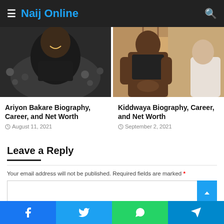≡ Naij Online 🔍
[Figure (photo): Photo of Ariyon Bakare smiling at a basketball/sports event]
Ariyon Bakare Biography, Career, and Net Worth
August 11, 2021
[Figure (photo): Photo of Kiddwaya sitting, muscular build, wearing Nike vest]
Kiddwaya Biography, Career, and Net Worth
September 2, 2021
Leave a Reply
Your email address will not be published. Required fields are marked *